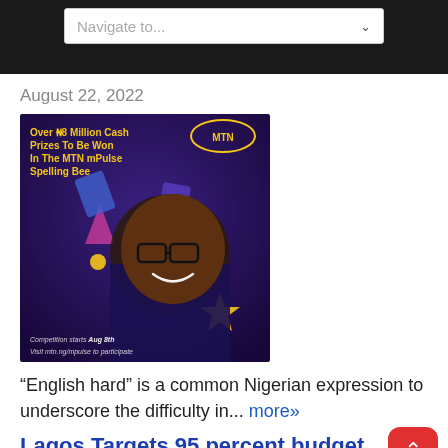Navigate to...
August 22, 2022
[Figure (photo): MTN mPulse Spelling Bee advertisement featuring a smiling young girl wearing glasses, with text 'Over ₦8 Million Cash Prizes To Be Won In The MTN mPulse Spelling Bee', MTN logo, 'Competition starts Aug 8th', 'Visit mtn.ng/mpulse to participate']
“English hard” is a common Nigerian expression to underscore the difficulty in... more»
Lagos Targets 95 percent budget performance by